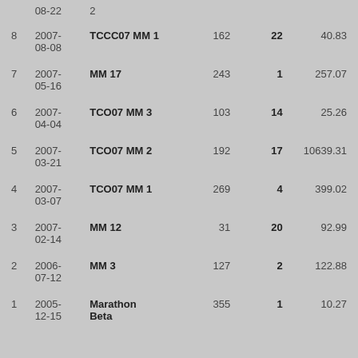|  | 08-22 | 2 |  |  |  |
| 8 | 2007-08-08 | TCCC07 MM 1 | 162 | 22 | 40.83 |
| 7 | 2007-05-16 | MM 17 | 243 | 1 | 257.07 |
| 6 | 2007-04-04 | TCO07 MM 3 | 103 | 14 | 25.26 |
| 5 | 2007-03-21 | TCO07 MM 2 | 192 | 17 | 10639.31 |
| 4 | 2007-03-07 | TCO07 MM 1 | 269 | 4 | 399.02 |
| 3 | 2007-02-14 | MM 12 | 31 | 20 | 92.99 |
| 2 | 2006-07-12 | MM 3 | 127 | 2 | 122.88 |
| 1 | 2005-12-15 | Marathon Beta | 355 | 1 | 10.27 |